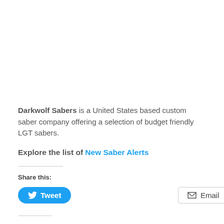Darkwolf Sabers is a United States based custom saber company offering a selection of budget friendly LGT sabers.
Explore the list of New Saber Alerts
Share this: